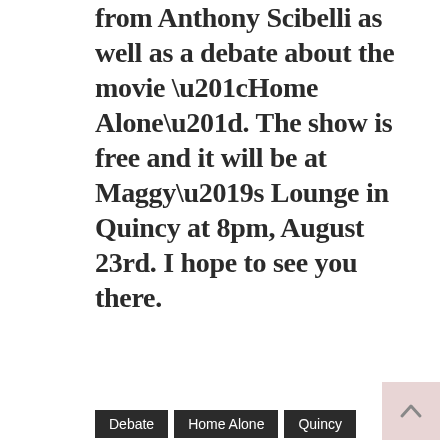from Anthony Scibelli as well as a debate about the movie “Home Alone”.  The show is free and it will be at Maggy’s Lounge in Quincy at 8pm, August 23rd.  I hope to see you there.
Debate
Home Alone
Quincy